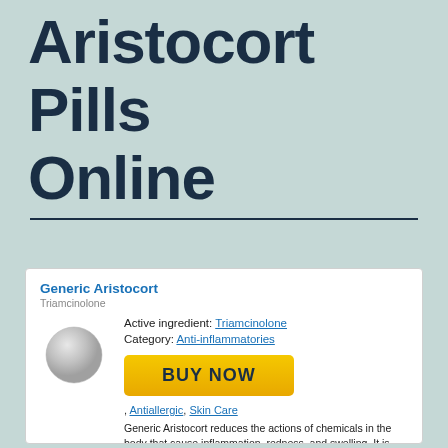Aristocort Pills Online
[Figure (other): Generic Aristocort drug card showing pill image, active ingredient Triamcinolone, category Anti-inflammatories, BUY NOW button, tags Antiallergic and Skin Care, and description text]
Generic Aristocort reduces the actions of chemicals in the body that cause inflammation, redness, and swelling. It is used to treat the inflammation caused by a number of conditions such as